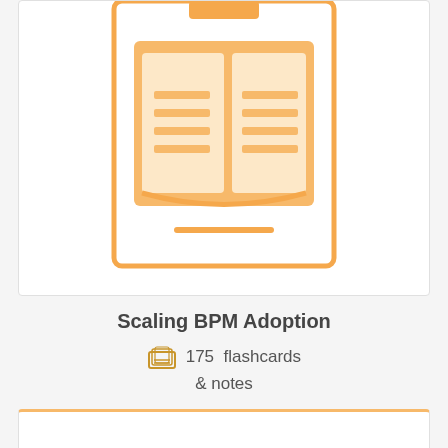[Figure (illustration): Orange book icon inside a rounded rectangle card, representing a study resource or flashcard deck]
Scaling BPM Adoption
175  flashcards & notes
[Figure (illustration): Second card card area, mostly empty/white with orange border at top, representing another study resource card]